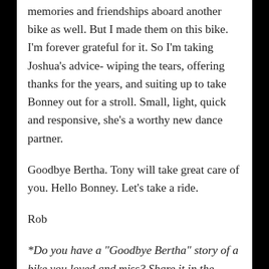memories and friendships aboard another bike as well. But I made them on this bike. I'm forever grateful for it. So I'm taking Joshua's advice- wiping the tears, offering thanks for the years, and suiting up to take Bonney out for a stroll. Small, light, quick and responsive, she's a worthy new dance partner.
Goodbye Bertha. Tony will take great care of you. Hello Bonney. Let's take a ride.
Rob
*Do you have a "Goodbye Bertha" story of a bike you loved and miss? Share it in the